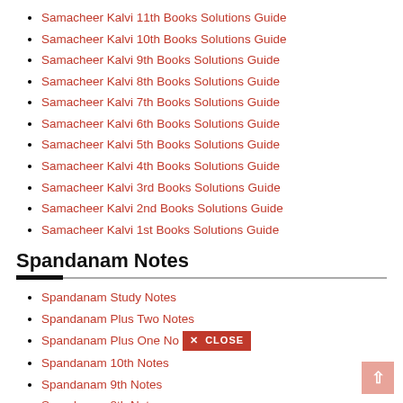Samacheer Kalvi 11th Books Solutions Guide
Samacheer Kalvi 10th Books Solutions Guide
Samacheer Kalvi 9th Books Solutions Guide
Samacheer Kalvi 8th Books Solutions Guide
Samacheer Kalvi 7th Books Solutions Guide
Samacheer Kalvi 6th Books Solutions Guide
Samacheer Kalvi 5th Books Solutions Guide
Samacheer Kalvi 4th Books Solutions Guide
Samacheer Kalvi 3rd Books Solutions Guide
Samacheer Kalvi 2nd Books Solutions Guide
Samacheer Kalvi 1st Books Solutions Guide
Spandanam Notes
Spandanam Study Notes
Spandanam Plus Two Notes
Spandanam Plus One Notes
Spandanam 10th Notes
Spandanam 9th Notes
Spandanam 8th Notes
Spandanam 7th Notes
Spandanam 6th Notes